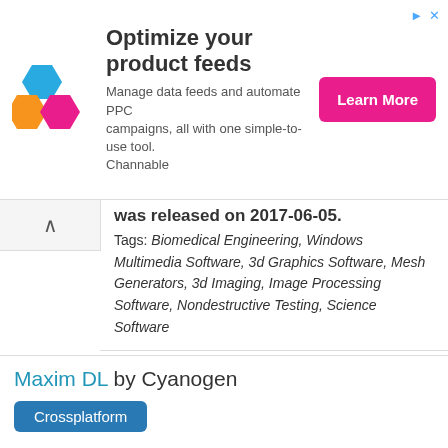[Figure (infographic): Advertisement banner: colorful hexagonal logo on left, headline 'Optimize your product feeds', subtitle 'Manage data feeds and automate PPC campaigns, all with one simple-to-use tool. Channable', pink 'Learn More' button on right.]
was released on 2017-06-05.
Tags: Biomedical Engineering, Windows Multimedia Software, 3d Graphics Software, Mesh Generators, 3d Imaging, Image Processing Software, Nondestructive Testing, Science Software
Maxim DL by Cyanogen
Crossplatform
Maxim DL is an astronomical software created by Cyanogen Imaging for the intended purpose of astronomical imaging. The data processing comes from imaging array detectors such as CCDs. It is...
Tags: Science Software, Astronomy Software